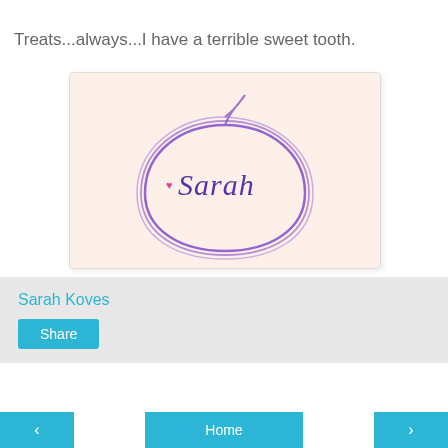Treats...always...I have a terrible sweet tooth.
[Figure (illustration): A hand-drawn style signature card with a peach/cream background. A purple teardrop-shaped outline contains a small pink heart and cursive text reading 'Sarah'.]
Sarah Koves
Share
Home